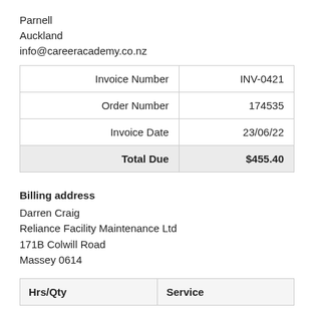Parnell
Auckland
info@careeracademy.co.nz
|  |  |
| --- | --- |
| Invoice Number | INV-0421 |
| Order Number | 174535 |
| Invoice Date | 23/06/22 |
| Total Due | $455.40 |
Billing address
Darren Craig
Reliance Facility Maintenance Ltd
171B Colwill Road
Massey 0614
| Hrs/Qty | Service |
| --- | --- |